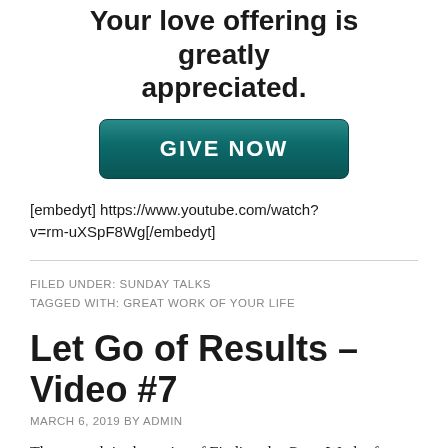Your love offering is greatly appreciated.
[Figure (other): GIVE NOW button — dark teal rounded rectangle with white bold uppercase text]
[embedyt] https://www.youtube.com/watch?v=rm-uXSpF8Wg[/embedyt]
FILED UNDER: SUNDAY TALKS
TAGGED WITH: GREAT WORK OF YOUR LIFE
Let Go of Results – Video #7
MARCH 6, 2019 BY ADMIN
The seventh in the series of Finding the Great Work of your Life, this video is about Letting Go of